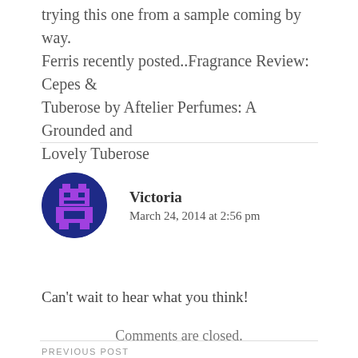trying this one from a sample coming by way. Ferris recently posted..Fragrance Review: Cepes & Tuberose by Aftelier Perfumes: A Grounded and Lovely Tuberose
[Figure (illustration): Circular avatar icon with dark blue/navy background and a purple pixel-art robot/alien game character in the center]
Victoria
March 24, 2014 at 2:56 pm
Can’t wait to hear what you think!
Comments are closed.
PREVIOUS POST